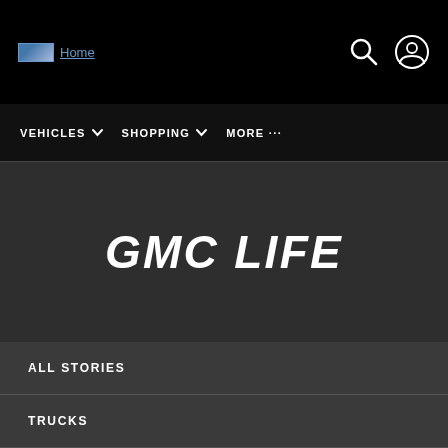Home
VEHICLES ∨   SHOPPING ∨   MORE ...
GMC LIFE
ALL STORIES
TRUCKS
SUVS
NEWS
DESIGN & TECHNOLOGY